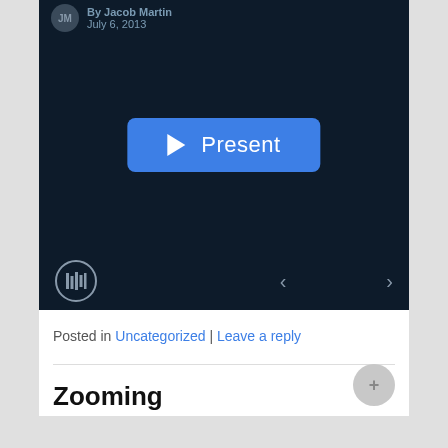[Figure (screenshot): A presentation slide viewer with dark navy background showing a blue 'Present' button with play icon in the center. Author bar at top shows 'JM' avatar, 'By Jacob Martin', 'July 6, 2013'. Bottom bar shows a striped logo icon and left/right navigation arrows.]
Posted in Uncategorized | Leave a reply
Zooming